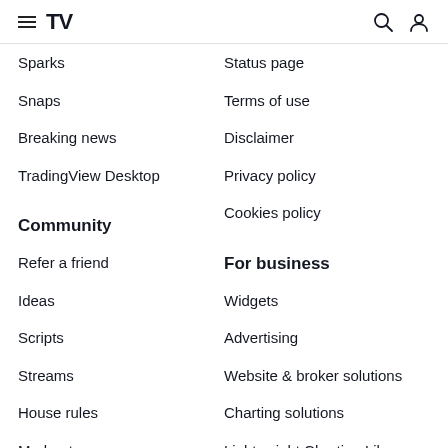TradingView navigation header with menu, logo, search, and user icons
Sparks
Status page
Snaps
Terms of use
Breaking news
Disclaimer
TradingView Desktop
Privacy policy
Cookies policy
Community
For business
Refer a friend
Widgets
Ideas
Advertising
Scripts
Website & broker solutions
Streams
Charting solutions
House rules
Lightweight Charting Library
Moderators